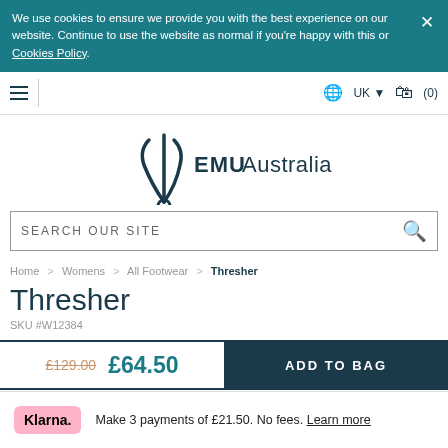We use cookies to ensure we provide you with the best experience on our website. Continue to use the website as normal if you're happy with this or Cookies Policy.
[Figure (logo): EMU Australia logo with stylized emu bird mark and text 'EMU Australia']
SEARCH OUR SITE
Home > Womens > All Footwear > Thresher
Thresher
SKU #W12384
£129.00  £64.50  ADD TO BAG
Klarna. Make 3 payments of £21.50. No fees. Learn more